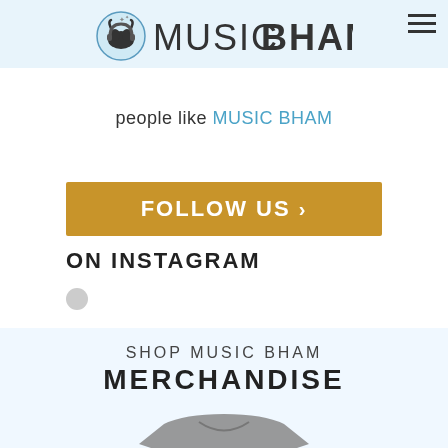[Figure (logo): MusicBHAM logo with headphones icon and text MUSICBHAM]
people like MUSIC BHAM
[Figure (infographic): Gold/amber button with text FOLLOW US > ON INSTAGRAM and a small grey circle below]
SHOP MUSIC BHAM
MERCHANDISE
[Figure (photo): Grey t-shirt with black M letter print, shown from chest up]